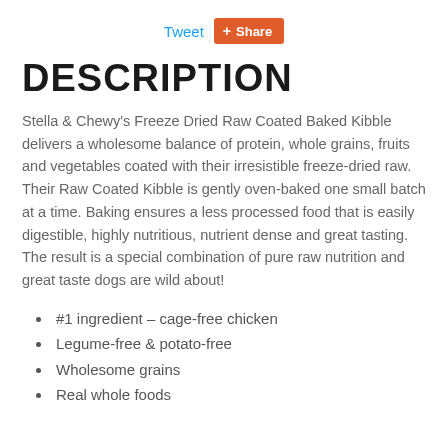Tweet  Share
DESCRIPTION
Stella & Chewy's Freeze Dried Raw Coated Baked Kibble delivers a wholesome balance of protein, whole grains, fruits and vegetables coated with their irresistible freeze-dried raw. Their Raw Coated Kibble is gently oven-baked one small batch at a time. Baking ensures a less processed food that is easily digestible, highly nutritious, nutrient dense and great tasting. The result is a special combination of pure raw nutrition and great taste dogs are wild about!
#1 ingredient – cage-free chicken
Legume-free & potato-free
Wholesome grains
Real whole foods